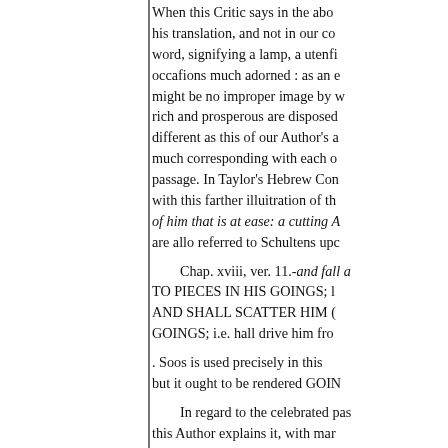When this Critic says in the above his translation, and not in our co word, signifying a lamp, a utenfi occafions much adorned : as an e might be no improper image by w rich and prosperous are disposed different as this of our Author's a much corresponding with each o passage. In Taylor's Hebrew Con with this farther illuitration of th of him that is at ease: a cutting A are allo referred to Schultens upc
Chap. xviii, ver. 11.-and fall a TO PIECES IN HIS GOINGS; l AND SHALL SCATTER HIM ( GOINGS; i.e. hall drive him fro
. Soos is used precisely in this but it ought to be rendered GOIN
In regard to the celebrated pas this Author explains it, with mar for us to insert : we shall therefo
As for the interpretation, he sa